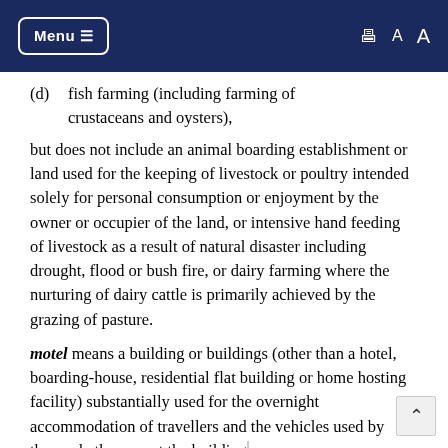Menu  [print icon] A A
(d)  fish farming (including farming of crustaceans and oysters),
but does not include an animal boarding establishment or land used for the keeping of livestock or poultry intended solely for personal consumption or enjoyment by the owner or occupier of the land, or intensive hand feeding of livestock as a result of natural disaster including drought, flood or bush fire, or dairy farming where the nurturing of dairy cattle is primarily achieved by the grazing of pasture.
motel means a building or buildings (other than a hotel, boarding-house, residential flat building or home hosting facility) substantially used for the overnight accommodation of travellers and the vehicles used by them whether or not the building